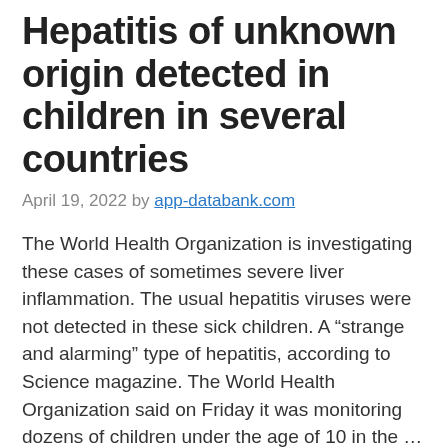Hepatitis of unknown origin detected in children in several countries
April 19, 2022 by app-databank.com
The World Health Organization is investigating these cases of sometimes severe liver inflammation. The usual hepatitis viruses were not detected in these sick children. A “strange and alarming” type of hepatitis, according to Science magazine. The World Health Organization said on Friday it was monitoring dozens of children under the age of 10 in the … Read more